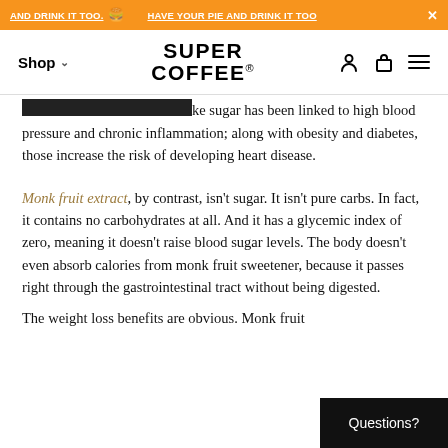AND DRINK IT TOO. 🍔 HAVE YOUR PIE AND DRINK IT TOO X
Shop ∨  SUPER COFFEE®  [user icon] [cart icon] [menu icon]
A diet high in refined carbs like sugar has been linked to high blood pressure and chronic inflammation; along with obesity and diabetes, those increase the risk of developing heart disease.
Monk fruit extract, by contrast, isn't sugar. It isn't pure carbs. In fact, it contains no carbohydrates at all. And it has a glycemic index of zero, meaning it doesn't raise blood sugar levels. The body doesn't even absorb calories from monk fruit sweetener, because it passes right through the gastrointestinal tract without being digested.
The weight loss benefits are obvious. Monk fruit